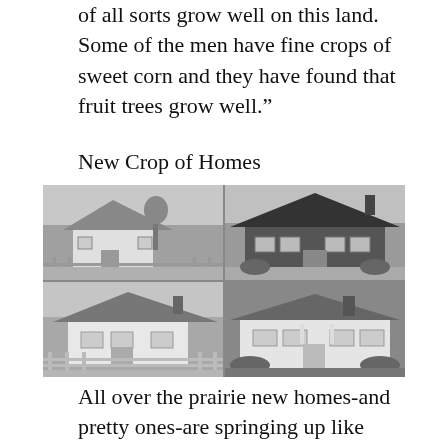of all sorts grow well on this land. Some of the men have fine crops of sweet corn and they have found that fruit trees grow well.”
New Crop of Homes
[Figure (photo): A 2x2 grid of four black-and-white photographs showing small bungalow-style homes on prairie lots.]
All over the prairie new homes‑and pretty ones‑are springing up like mushrooms, their newness a jarring note in the harmony of gray ad brown and blues, with a dash of yellow